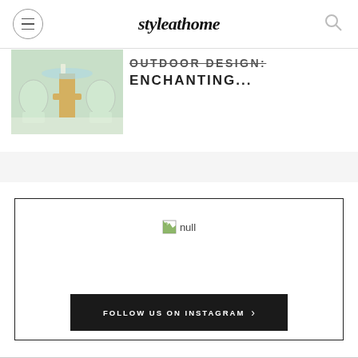styleathome
[Figure (photo): Outdoor furniture — wicker chairs and a gold pedestal table on a bright patio]
OUTDOOR DESIGN: ENCHANTING...
FOLLOW US ON INSTAGRAM